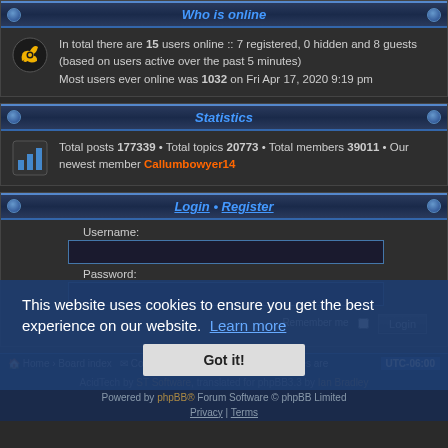Who is online
In total there are 15 users online :: 7 registered, 0 hidden and 8 guests (based on users active over the past 5 minutes)
Most users ever online was 1032 on Fri Apr 17, 2020 9:19 pm
Statistics
Total posts 177339 • Total topics 20773 • Total members 39011 • Our newest member Callumbowyer14
Login • Register
Username:
Password:
Remember me
Login
Home • Board index • Contact us • Delete cookies  All times are UTC-06:00
AcidTech by ST Software, translated for phpBB3.3 by Ian Bradley
Powered by phpBB® Forum Software © phpBB Limited
Privacy | Terms
This website uses cookies to ensure you get the best experience on our website.  Learn more
Got it!